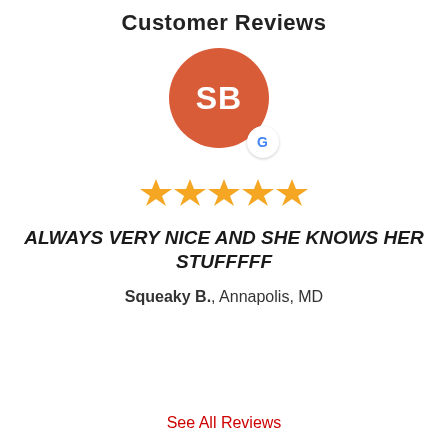Customer Reviews
[Figure (illustration): Red circular avatar with initials 'SB' in white, with a Google 'G' badge in the bottom-right corner]
[Figure (other): Five gold star rating]
ALWAYS VERY NICE AND SHE KNOWS HER STUFFFFF
Squeaky B., Annapolis, MD
See All Reviews